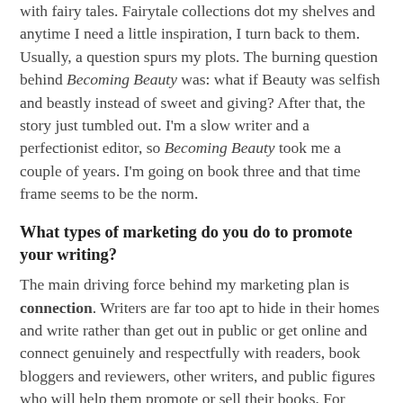with fairy tales. Fairytale collections dot my shelves and anytime I need a little inspiration, I turn back to them. Usually, a question spurs my plots. The burning question behind Becoming Beauty was: what if Beauty was selfish and beastly instead of sweet and giving? After that, the story just tumbled out. I'm a slow writer and a perfectionist editor, so Becoming Beauty took me a couple of years. I'm going on book three and that time frame seems to be the norm.
What types of marketing do you do to promote your writing?
The main driving force behind my marketing plan is connection. Writers are far too apt to hide in their homes and write rather than get out in public or get online and connect genuinely and respectfully with readers, book bloggers and reviewers, other writers, and public figures who will help them promote or sell their books. For instance, when Midnight Sisters was